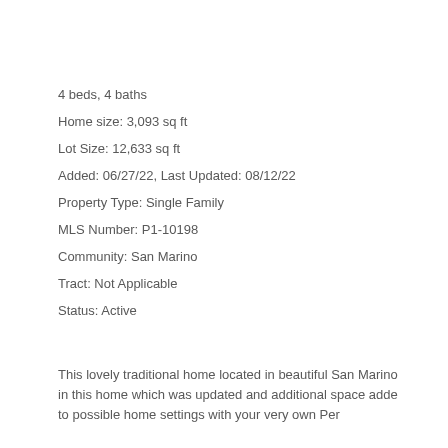4 beds, 4 baths
Home size: 3,093 sq ft
Lot Size: 12,633 sq ft
Added: 06/27/22, Last Updated: 08/12/22
Property Type: Single Family
MLS Number: P1-10198
Community: San Marino
Tract: Not Applicable
Status: Active
This lovely traditional home located in beautiful San Marino in this home which was updated and additional space adde to possible home settings with your very own Per